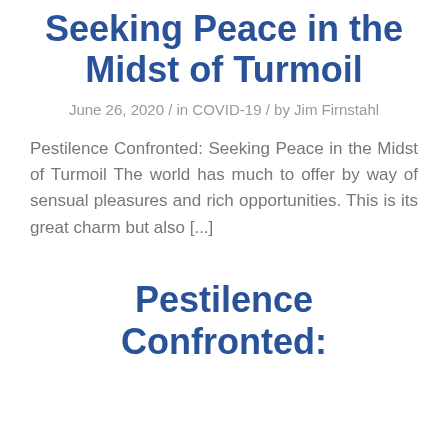Seeking Peace in the Midst of Turmoil
June 26, 2020 / in COVID-19 / by Jim Firnstahl
Pestilence Confronted: Seeking Peace in the Midst of Turmoil The world has much to offer by way of sensual pleasures and rich opportunities. This is its great charm but also [...]
Pestilence Confronted: